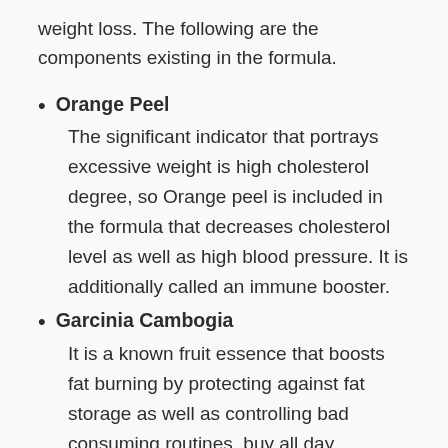weight loss. The following are the components existing in the formula.
Orange Peel
The significant indicator that portrays excessive weight is high cholesterol degree, so Orange peel is included in the formula that decreases cholesterol level as well as high blood pressure. It is additionally called an immune booster.
Garcinia Cambogia
It is a known fruit essence that boosts fat burning by protecting against fat storage as well as controlling bad consuming routines. buy all day slimming tea Anaheim California On top of that, Garcinia cambogia is a